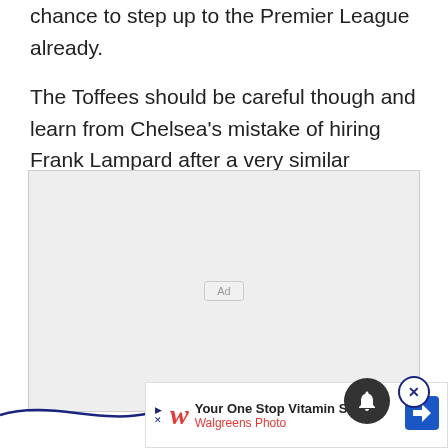chance to step up to the Premier League already.
The Toffees should be careful though and learn from Chelsea's mistake of hiring Frank Lampard after a very similar successful spell at Derby that came quite early in his managerial career.
[Figure (other): Advertisement placeholder box with 'Ad' label in center]
[Figure (other): Walgreens Photo advertisement banner at bottom with 'Your One Stop Vitamin Shop' text]